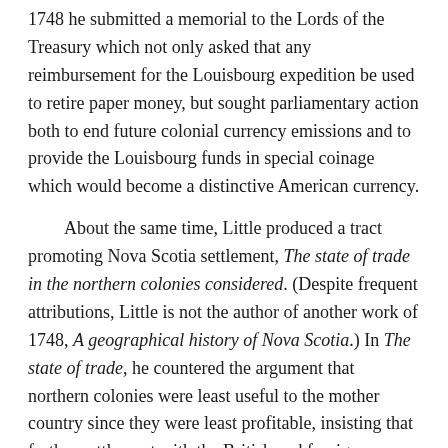1748 he submitted a memorial to the Lords of the Treasury which not only asked that any reimbursement for the Louisbourg expedition be used to retire paper money, but sought parliamentary action both to end future colonial currency emissions and to provide the Louisbourg funds in special coinage which would become a distinctive American currency.
About the same time, Little produced a tract promoting Nova Scotia settlement, The state of trade in the northern colonies considered. (Despite frequent attributions, Little is not the author of another work of 1748, A geographical history of Nova Scotia.) In The state of trade, he countered the argument that northern colonies were least useful to the mother country since they were least profitable, insisting that further settlement with the British and foreign Protestants in the north would enlarge the market for British goods and better enable the colonists to pay for them. He also denied vigorously that the colonies might become independent, concluding: “Upon the whole, nothing can, nor ever